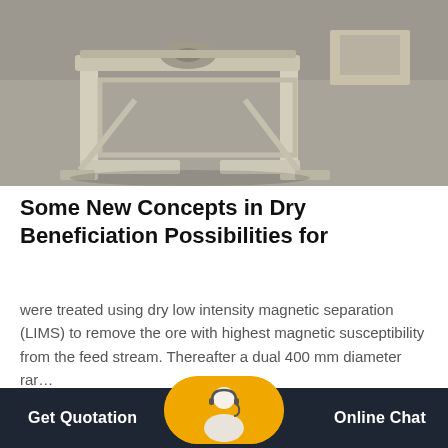[Figure (photo): Industrial equipment — appears to be a metal frame/stand with rollers or drum component, photographed in an industrial setting on a concrete floor. Gray tones.]
Some New Concepts in Dry Beneficiation Possibilities for
were treated using dry low intensity magnetic separation (LIMS) to remove the ore with highest magnetic susceptibility from the feed stream. Thereafter a dual 400 mm diameter rar…
[Figure (photo): Industrial building exterior with large glass window panels in a grid pattern, photographed from outside. Gray and white tones.]
Get Quotation   Online Chat